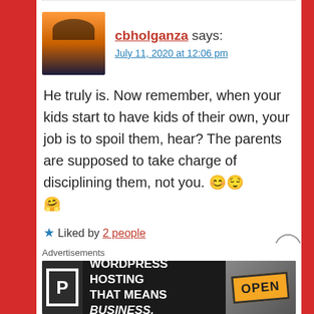cbholganza says: July 11, 2020 at 12:06 pm
He truly is. Now remember, when your kids start to have kids of their own, your job is to spoil them, hear? The parents are supposed to take charge of disciplining them, not you. 😊😌🤗
★ Liked by 2 people
Reply
Advertisements
[Figure (screenshot): WordPress Hosting advertisement banner with a P logo, text 'WORDPRESS HOSTING THAT MEANS BUSINESS.' and an OPEN sign image]